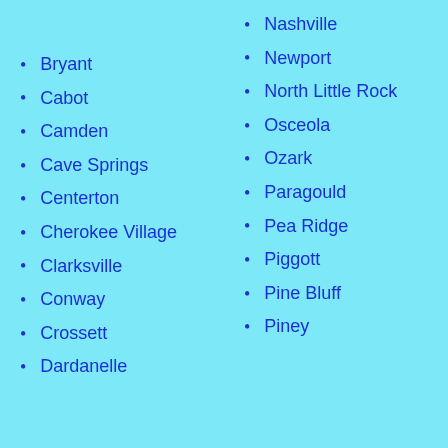Bryant
Cabot
Camden
Cave Springs
Centerton
Cherokee Village
Clarksville
Conway
Crossett
Dardanelle
Nashville
Newport
North Little Rock
Osceola
Ozark
Paragould
Pea Ridge
Piggott
Pine Bluff
Piney